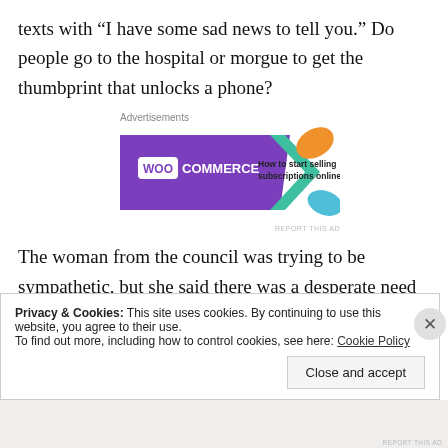texts with “I have some sad news to tell you.” Do people go to the hospital or morgue to get the thumbprint that unlocks a phone?
[Figure (other): WooCommerce advertisement banner: purple background with WooCommerce logo and text 'How to start selling subscriptions online', with decorative orange and teal shapes]
The woman from the council was trying to be sympathetic, but she said there was a desperate need for a two-bedroomed flat round here, and that some people had been living in a B&B for nearly a year. The
Privacy & Cookies: This site uses cookies. By continuing to use this website, you agree to their use.
To find out more, including how to control cookies, see here: Cookie Policy
Close and accept